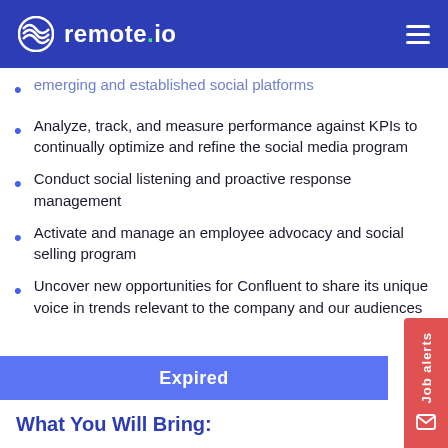remote.io
emerging and established social platforms
Analyze, track, and measure performance against KPIs to continually optimize and refine the social media program
Conduct social listening and proactive response management
Activate and manage an employee advocacy and social selling program
Uncover new opportunities for Confluent to share its unique voice in trends relevant to the company and our audiences
Expired
What You Will Bring: